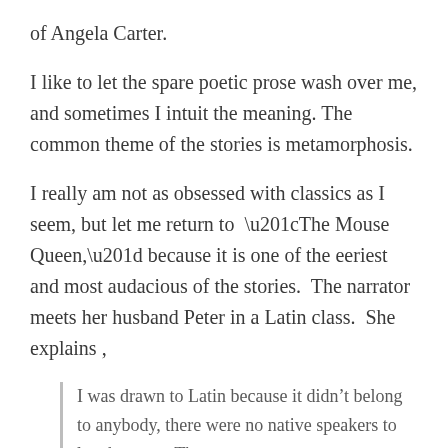of Angela Carter.
I like to let the spare poetic prose wash over me, and sometimes I intuit the meaning. The common theme of the stories is metamorphosis.
I really am not as obsessed with classics as I seem, but let me return to “The Mouse Queen,” because it is one of the eeriest and most audacious of the stories. The narrator meets her husband Peter in a Latin class. She explains ,
I was drawn to Latin because it didn’t belong to anybody, there were no native speakers to laugh at me. There were